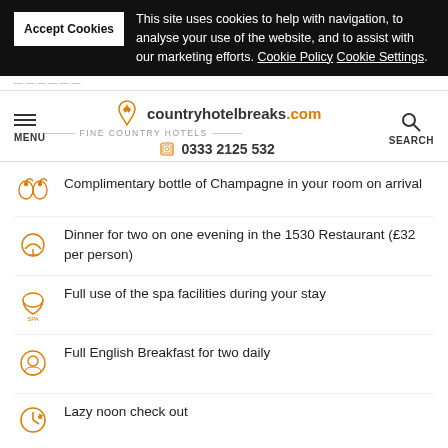Accept Cookies — This site uses cookies to help with navigation, to analyse your use of the website, and to assist with our marketing efforts. Cookie Policy Cookie Settings.
countryhotelbreaks.com — FINE COUNTRY HOTELS — 0333 2125 532
Complimentary bottle of Champagne in your room on arrival
Dinner for two on one evening in the 1530 Restaurant (£32 per person)
Full use of the spa facilities during your stay
Full English Breakfast for two daily
Lazy noon check out
1 NIGHT STAY